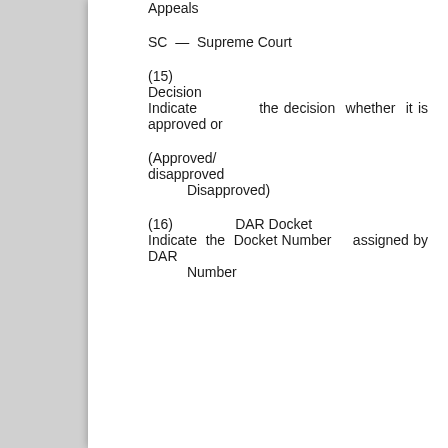Appeals
SC — Supreme Court
(15) Decision Indicate the decision whether it is approved or
(Approved/ disapproved Disapproved)
(16) DAR Docket Indicate the Docket Number assigned by DAR Number